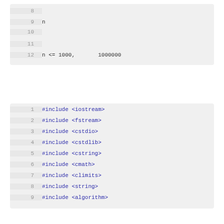[Figure (screenshot): Code block showing lines 8-12 with Thai text and a constraint: n <= 1000, and a value 1000000]
Thai text description paragraph about the problem
Thai section header
[Figure (screenshot): Code block showing lines 1-9 with C++ include statements: #include <iostream>, #include <fstream>, #include <cstdio>, #include <cstdlib>, #include <cstring>, #include <cmath>, #include <climits>, #include <string>, #include <algorithm>]